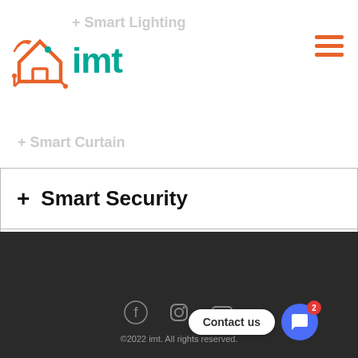[Figure (logo): IMT smart home logo with orange house/circuit icon and teal 'imt' text]
+ Smart Security
+ Others
+ Business Transformation
©2022 imt. All rights reserved.